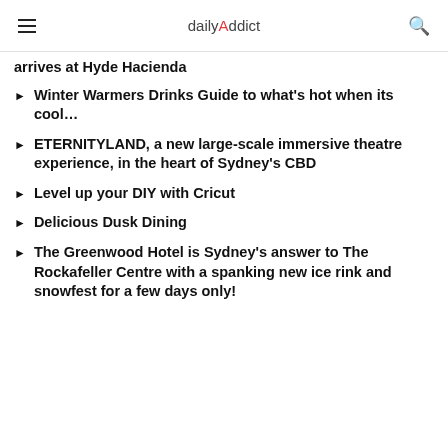dailyAddict
arrives at Hyde Hacienda
Winter Warmers Drinks Guide to what's hot when its cool…
ETERNITYLAND, a new large-scale immersive theatre experience, in the heart of Sydney's CBD
Level up your DIY with Cricut
Delicious Dusk Dining
The Greenwood Hotel is Sydney's answer to The Rockafeller Centre with a spanking new ice rink and snowfest for a few days only!